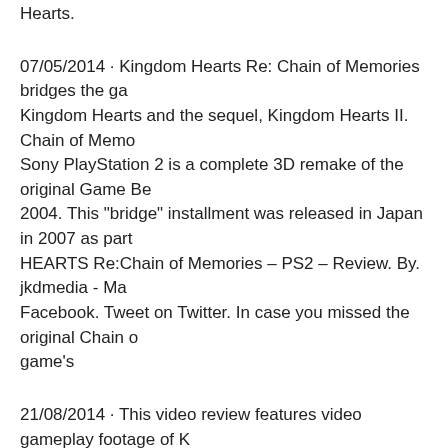Hearts.
07/05/2014 · Kingdom Hearts Re: Chain of Memories bridges the gap between Kingdom Hearts and the sequel, Kingdom Hearts II. Chain of Memories on Sony PlayStation 2 is a complete 3D remake of the original Game Be... 2004. This "bridge" installment was released in Japan in 2007 as part... HEARTS Re:Chain of Memories – PS2 – Review. By. jkdmedia - M... Facebook. Tweet on Twitter. In case you missed the original Chain o... game's
21/08/2014 · This video review features video gameplay footage of K... Memories for PlayStation 3 and audio commentary from Classic Ga... Kingdom Hearts: Chain of Memories 10/12/2008 · Kingdom hearts r... up right where kingdom hearts 1 left off. It bridges the gap between K... However, do you need this game to …
29/03/2007 · Kingdom Hearts Re: Chain of Memories Action , Adve... released 2 December 2008 Ahead lies something you need -- but to c... something dear. Kingdom Hearts Re:Chain of Memories is the essen... between Kingdom Hearts and Kingdom Hearts II. Originally release...